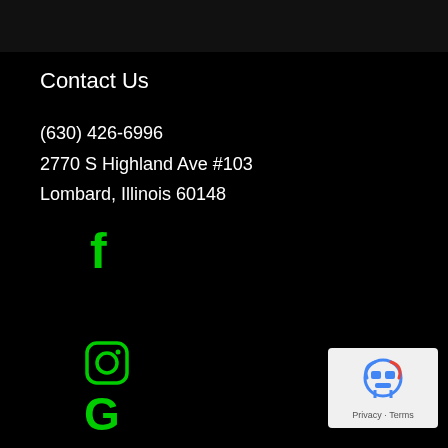Contact Us
(630) 426-6996
2770 S Highland Ave #103
Lombard, Illinois 60148
[Figure (logo): Green Facebook 'f' icon]
[Figure (logo): Green Instagram camera icon (circle outline with inner circle and square)]
[Figure (logo): Green Google 'G' icon]
[Figure (logo): Google reCAPTCHA badge with robot icon and Privacy · Terms text]